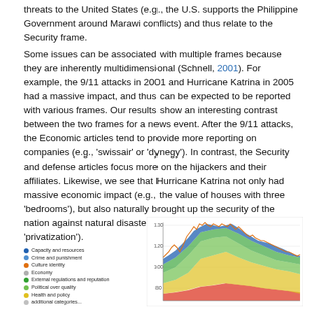threats to the United States (e.g., the U.S. supports the Philippine Government around Marawi conflicts) and thus relate to the Security frame.
Some issues can be associated with multiple frames because they are inherently multidimensional (Schnell, 2001). For example, the 9/11 attacks in 2001 and Hurricane Katrina in 2005 had a massive impact, and thus can be expected to be reported with various frames. Our results show an interesting contrast between the two frames for a news event. After the 9/11 attacks, the Economic articles tend to provide more reporting on companies (e.g., 'swissair' or 'dynegy'). In contrast, the Security and defense articles focus more on the hijackers and their affiliates. Likewise, we see that Hurricane Katrina not only had massive economic impact (e.g., the value of houses with three 'bedrooms'), but also naturally brought up the security of the nation against natural disasters (e.g., 'homeowners' and 'privatization').
[Figure (area-chart): Stacked area/line chart showing multiple topic categories over time, with a legend listing: Capacity and resources, Crime and punishment, Culture identity, Economy, External regulations and reputation, Political over quality, Health and policy, and additional categories. The chart shows values roughly between 80 and 130 on y-axis.]